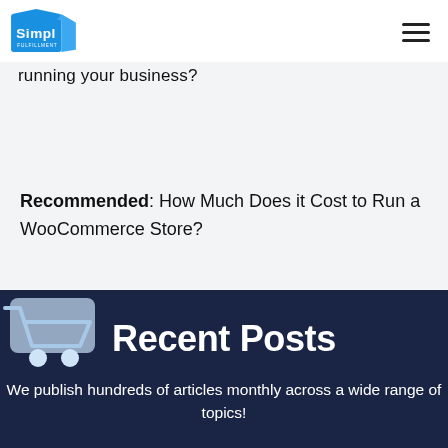Simpl Fulfillment [logo] [hamburger menu]
running your business?
Recommended: How Much Does it Cost to Run a WooCommerce Store?
Recent Posts
We publish hundreds of articles monthly across a wide range of topics!